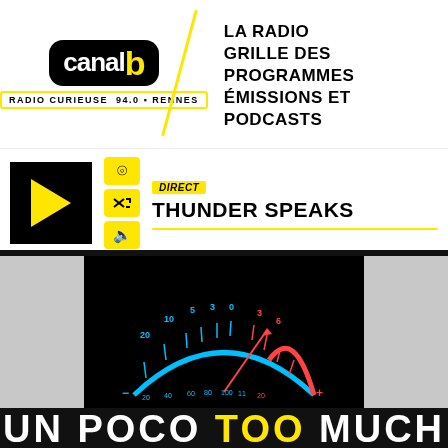[Figure (logo): Canal B logo - black rounded rectangle with 'canal' in white and 'b' in yellow, with tagline 'RADIO CURIEUSE 94.0 RENNES']
LA RADIO
GRILLE DES PROGRAMMES
ÉMISSIONS ET PODCASTS
[Figure (other): Player controls: play button (black square with yellow triangle), radio/shuffle/volume icons, DIRECT badge, show title THUNDER SPEAKS, yellow volume slider]
DIRECT
THUNDER SPEAKS
[Figure (photo): Black background image of a VU meter/level meter display with blue and red colored scale markings (-20, -10, -5, -3, 0, 3, 6) and the text 'UN POCO TOO MUCH' in blue, yellow and red]
UN POCO TOO MUCH